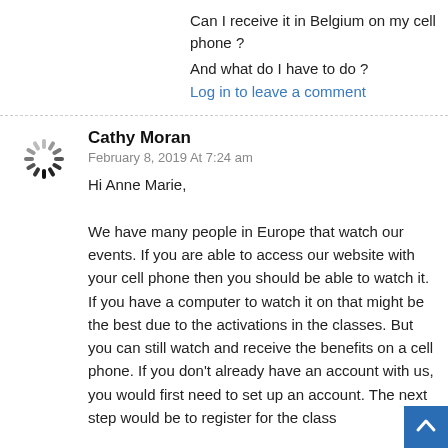Can I receive it in Belgium on my cell phone ?
And what do I have to do ?
Log in to leave a comment
Cathy Moran
February 8, 2019 At 7:24 am
Hi Anne Marie,

We have many people in Europe that watch our events. If you are able to access our website with your cell phone then you should be able to watch it. If you have a computer to watch it on that might be the best due to the activations in the classes. But you can still watch and receive the benefits on a cell phone. If you don't already have an account with us, you would first need to set up an account. The next step would be to register for the class itself. Someone who registers the class will be